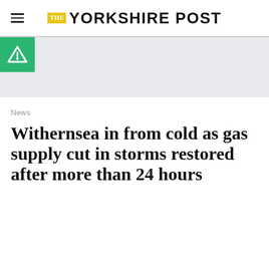THE YORKSHIRE POST
[Figure (logo): Advertisement banner area with green Adblock icon in top-left corner on light grey background]
News
Withernsea in from cold as gas supply cut in storms restored after more than 24 hours